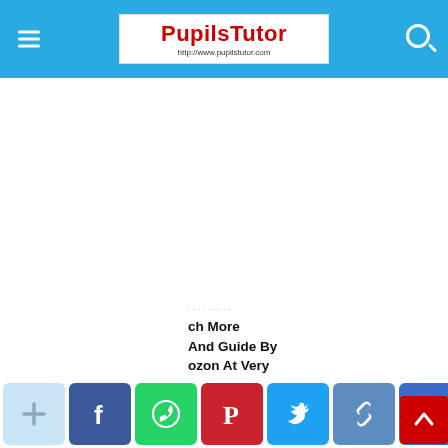PupilsTutor — http://www.pupilstutor.com
[Figure (screenshot): Large white blank content area, likely an advertisement or image placeholder]
ch More And Guide By ozon At Very
[Figure (infographic): Social sharing buttons row: Add, Facebook, WhatsApp, Pinterest, Twitter, Link, Share, and a scroll-to-top red button]